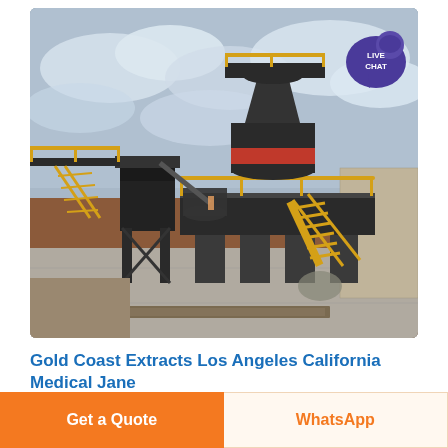[Figure (photo): Industrial mining/crushing equipment installation — a large dark steel cone crusher mounted on a tall structural steel platform with yellow safety railings and stairs, set in an open quarry/mining site with reddish-brown soil and overcast sky. A secondary crusher and conveyor are visible in the background. A 'LIVE CHAT' speech-bubble badge is overlaid on the top-right corner of the photo.]
Gold Coast Extracts Los Angeles California Medical Jane
Get a Quote
WhatsApp